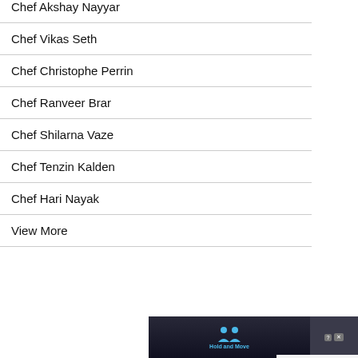Chef Akshay Nayyar
Chef Vikas Seth
Chef Christophe Perrin
Chef Ranveer Brar
Chef Shilarna Vaze
Chef Tenzin Kalden
Chef Hari Nayak
View More
[Figure (screenshot): Featured Recipes overlay showing a video thumbnail of Paneer Tikka Masala Bunny Chow recipe by MasterChef Sanjeev Kapoor, with a blue sidebar labeled FEATURED RECIPES, and an advertisement banner at the bottom with Hold and Move text]